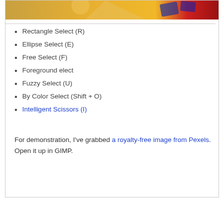[Figure (photo): Partial view of a colorful GIMP image with orange and red tones, partially cropped at top]
Rectangle Select (R)
Ellipse Select (E)
Free Select (F)
Foreground elect
Fuzzy Select (U)
By Color Select (Shift + O)
Intelligent Scissors (I)
For demonstration, I've grabbed a royalty-free image from Pexels. Open it up in GIMP.